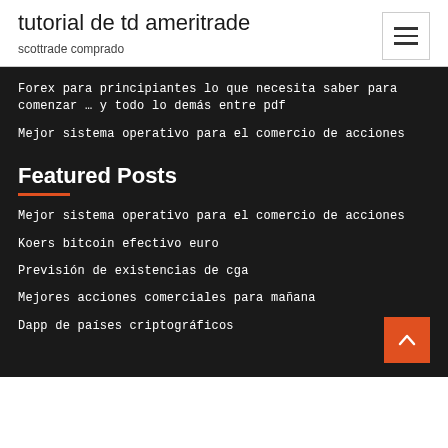tutorial de td ameritrade
scottrade comprado
Forex para principiantes lo que necesita saber para comenzar … y todo lo demás entre pdf
Mejor sistema operativo para el comercio de acciones
Featured Posts
Mejor sistema operativo para el comercio de acciones
Koers bitcoin efectivo euro
Previsión de existencias de cga
Mejores acciones comerciales para mañana
Dapp de países criptográficos